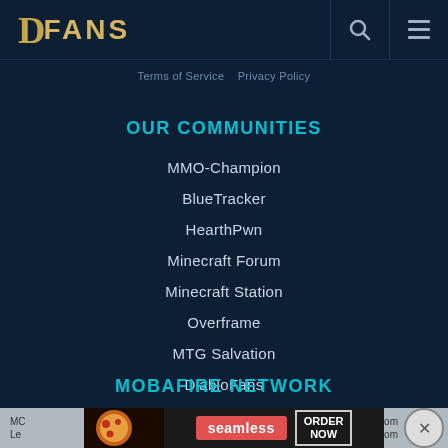D FANS
Terms of Service   Privacy Policy
OUR COMMUNITIES
MMO-Champion
BlueTracker
HearthPwn
Minecraft Forum
Minecraft Station
Overframe
MTG Salvation
DiabloFans
MOBAFIRE NETWORK
[Figure (screenshot): Seamless food delivery advertisement banner with pizza image, Seamless logo, and ORDER NOW button]